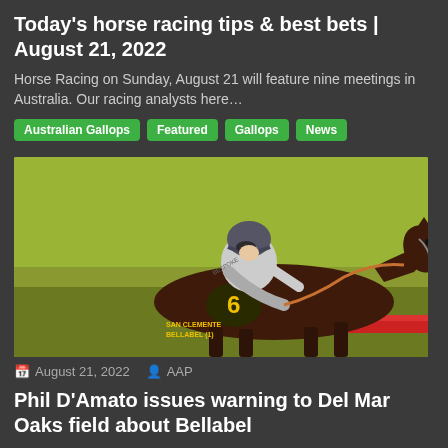Today's horse racing tips & best bets | August 21, 2022
Horse Racing on Sunday, August 21 will feature nine meetings in Australia. Our racing analysts here…
Australian Gallops
Featured
Gallops
News
[Figure (photo): Jockey in grey silks riding dark brown horse numbered 6 (SAN CLEMENTE / BELLABEL) racing on track with yellow-green background and red rail]
August 21, 2022   AAP
Phil D'Amato issues warning to Del Mar Oaks field about Bellabel